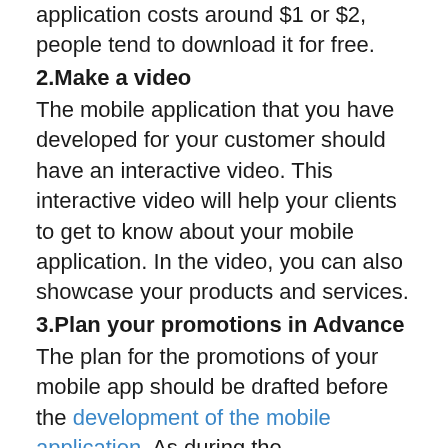application costs around $1 or $2, people tend to download it for free.
2.Make a video
The mobile application that you have developed for your customer should have an interactive video. This interactive video will help your clients to get to know about your mobile application. In the video, you can also showcase your products and services.
3.Plan your promotions in Advance
The plan for the promotions of your mobile app should be drafted before the development of the mobile application. As during the development phase, you will be having ample amount of time to run promotions and events to market your mobile applications.
4.Upgrade according to need and trends
The mobile applications dealing with your product or